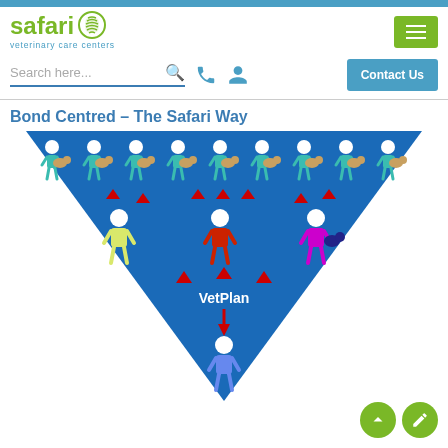[Figure (logo): Safari Veterinary Care Centers logo with green text and leaf/fingerprint icon]
Search here...
Contact Us
Bond Centred – The Safari Way
[Figure (infographic): Inverted triangle/funnel diagram on blue background showing hierarchical flow: top row of 10 teal human figures each holding an animal, with red arrows pointing down to 3 figures (yellow, red, magenta) in the middle tier, then red arrows pointing down to 'VetPlan' text, then arrow pointing to a single blue figure at the bottom.]